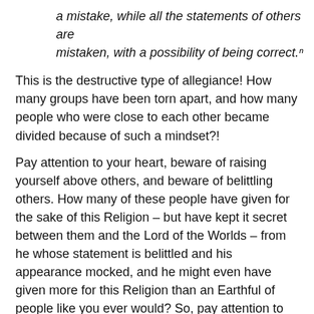a mistake, while all the statements of others are mistaken, with a possibility of being correct.¹
This is the destructive type of allegiance! How many groups have been torn apart, and how many people who were close to each other became divided because of such a mindset?!
Pay attention to your heart, beware of raising yourself above others, and beware of belittling others. How many of these people have given for the sake of this Religion – but have kept it secret between them and the Lord of the Worlds – from he whose statement is belittled and his appearance mocked, and he might even have given more for this Religion than an Earthful of people like you ever would? So, pay attention to yourself, and may Allah have Mercy on a man who knows his limits and stays inside those limits. The virtuous people are those who acknowledge the virtue of the people of virtue,